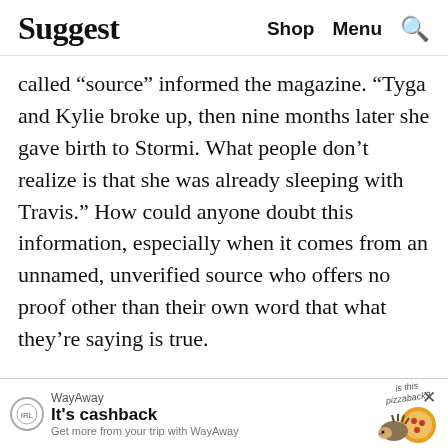Suggest   Shop   Menu   [search]
called “source” informed the magazine. “Tyga and Kylie broke up, then nine months later she gave birth to Stormi. What people don’t realize is that she was already sleeping with Travis.” How could anyone doubt this information, especially when it comes from an unnamed, unverified source who offers no proof other than their own word that what they’re saying is true.
The outlet certainly didn’t doubt it, considering that the article went on to claim “It’d b[...] y
[Figure (other): WayAway advertisement banner with logo, text 'It's cashback', 'Get more from your trip with WayAway', handwritten 'is this pizzaback?' text, cartoon hedgehog with pizza, and close (X) button.]